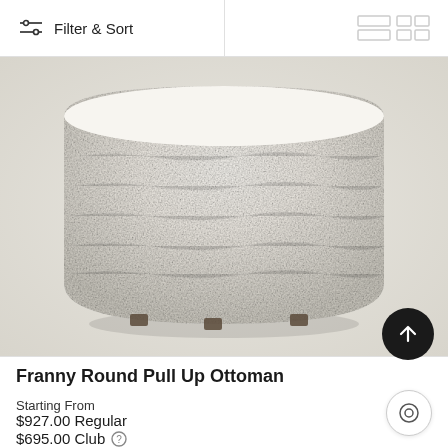Filter & Sort
[Figure (photo): Close-up photograph of the Franny Round Pull Up Ottoman upholstered in cream/off-white boucle fabric, showing its cylindrical shape with rounded bottom edges and small dark metal feet at the base.]
Franny Round Pull Up Ottoman
Starting From
$927.00 Regular
$695.00 Club